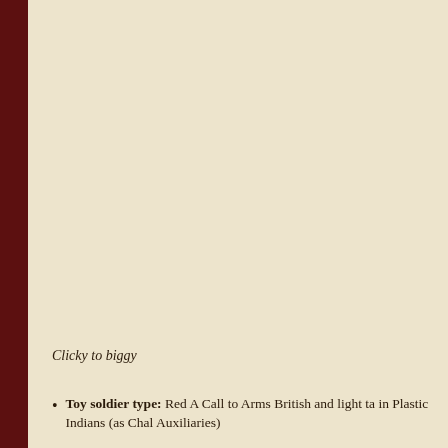Clicky to biggy
Toy soldier type: Red A Call to Arms British and light ta in Plastic Indians (as Chal Auxiliaries)